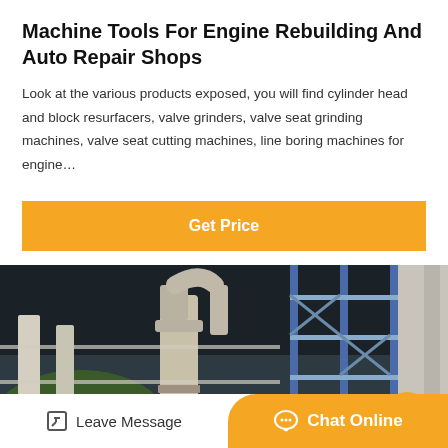Machine Tools For Engine Rebuilding And Auto Repair Shops
Look at the various products exposed, you will find cylinder head and block resurfacers, valve grinders, valve seat grinding machines, valve seat cutting machines, line boring machines for engine…
[Figure (other): Orange 'Get Price' button]
[Figure (photo): Industrial machinery photo showing large cylindrical tanks/pipes and metal scaffolding structure in a factory/outdoor setting]
Leave Message
Chat Online